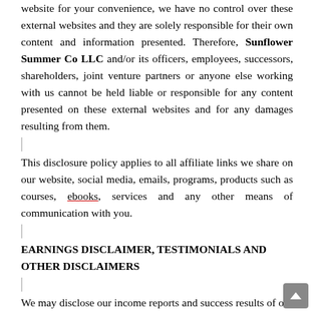website for your convenience, we have no control over these external websites and they are solely responsible for their own content and information presented. Therefore, Sunflower Summer Co LLC and/or its officers, employees, successors, shareholders, joint venture partners or anyone else working with us cannot be held liable or responsible for any content presented on these external websites and for any damages resulting from them.
This disclosure policy applies to all affiliate links we share on our website, social media, emails, programs, products such as courses, ebooks, services and any other means of communication with you.
EARNINGS DISCLAIMER, TESTIMONIALS AND OTHER DISCLAIMERS
We may disclose our income reports and success results of our current or former customers including